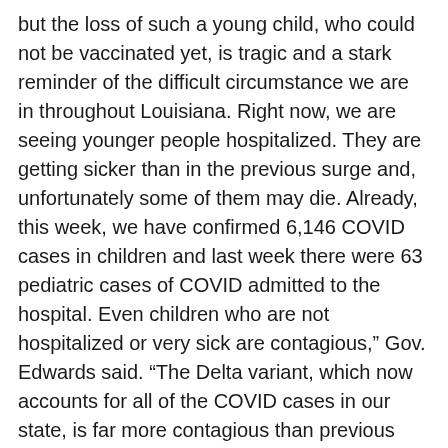but the loss of such a young child, who could not be vaccinated yet, is tragic and a stark reminder of the difficult circumstance we are in throughout Louisiana. Right now, we are seeing younger people hospitalized. They are getting sicker than in the previous surge and, unfortunately some of them may die. Already, this week, we have confirmed 6,146 COVID cases in children and last week there were 63 pediatric cases of COVID admitted to the hospital. Even children who are not hospitalized or very sick are contagious,” Gov. Edwards said. “The Delta variant, which now accounts for all of the COVID cases in our state, is far more contagious than previous strains of COVID as our strained hospitals prove. We have hope in the form of safe and effective vaccines, but only if many more of us who are eligible and able to actually take them and only if we slow the spread of this illness through masking and distancing as well. All Louisianans, regardless of their age or health status, are worthy of our care and attention. Every person lost to this virus, young